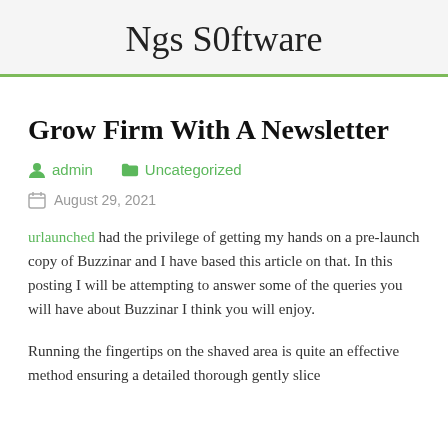Ngs S0ftware
Grow Firm With A Newsletter
admin   Uncategorized
August 29, 2021
urlaunched had the privilege of getting my hands on a pre-launch copy of Buzzinar and I have based this article on that. In this posting I will be attempting to answer some of the queries you will have about Buzzinar I think you will enjoy.
Running the fingertips on the shaved area is quite an effective method ensuring a detailed thorough gently slice